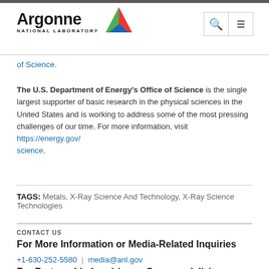Argonne National Laboratory
of Science.
The U.S. Department of Energy's Office of Science is the single largest supporter of basic research in the physical sciences in the United States and is working to address some of the most pressing challenges of our time. For more information, visit https://energy.gov/science.
TAGS:  Metals, X-Ray Science And Technology, X-Ray Science Technologies
CONTACT US
For More Information or Media-Related Inquiries
+1-630-252-5580  |  media@anl.gov
For Partnership Inquiries or Commercializing Argonne